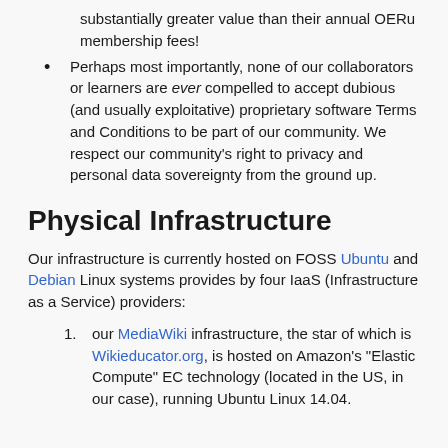substantially greater value than their annual OERu membership fees!
Perhaps most importantly, none of our collaborators or learners are ever compelled to accept dubious (and usually exploitative) proprietary software Terms and Conditions to be part of our community. We respect our community's right to privacy and personal data sovereignty from the ground up.
Physical Infrastructure
Our infrastructure is currently hosted on FOSS Ubuntu and Debian Linux systems provides by four IaaS (Infrastructure as a Service) providers:
our MediaWiki infrastructure, the star of which is Wikieducator.org, is hosted on Amazon's "Elastic Compute" EC technology (located in the US, in our case), running Ubuntu Linux 14.04.